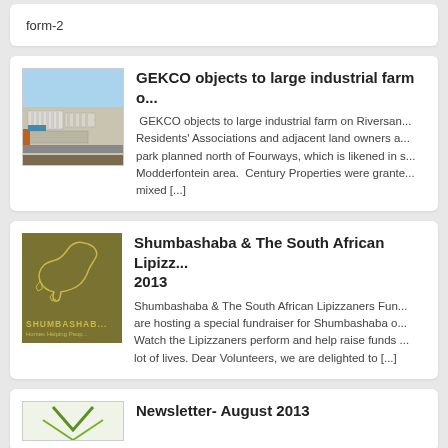form-2
GEKCO objects to large industrial farm o...
GEKCO objects to large industrial farm on Riversan... Residents' Associations and adjacent land owners a... park planned north of Fourways, which is likened in s... Modderfontein area. Century Properties were grante... mixed [...]
Shumbashaba & The South African Lipizz... 2013
Shumbashaba & The South African Lipizzaners Fun... are hosting a special fundraiser for Shumbashaba o... Watch the Lipizzaners perform and help raise funds ... lot of lives. Dear Volunteers, we are delighted to [...]
Newsletter- August 2013